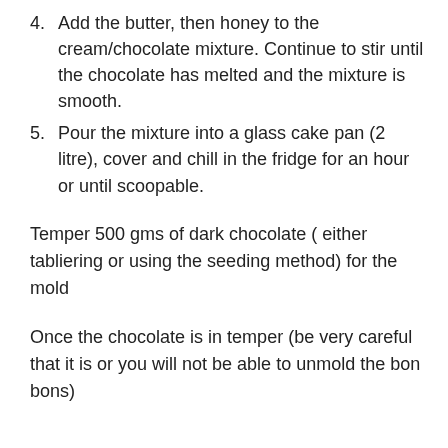4. Add the butter, then honey to the cream/chocolate mixture. Continue to stir until the chocolate has melted and the mixture is smooth.
5. Pour the mixture into a glass cake pan (2 litre), cover and chill in the fridge for an hour or until scoopable.
Temper 500 gms of dark chocolate ( either tabliering or using the seeding method) for the mold
Once the chocolate is in temper (be very careful that it is or you will not be able to unmold the bon bons)